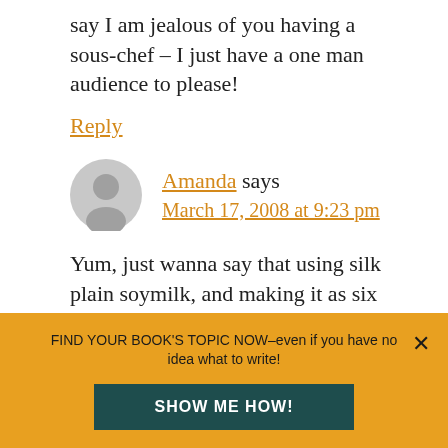say I am jealous of you having a sous-chef – I just have a one man audience to please!
Reply
Amanda says
March 17, 2008 at 9:23 pm
Yum, just wanna say that using silk plain soymilk, and making it as six servings, its just 135 calories per serving. ('course this depends a
FIND YOUR BOOK'S TOPIC NOW–even if you have no idea what to write!
SHOW ME HOW!